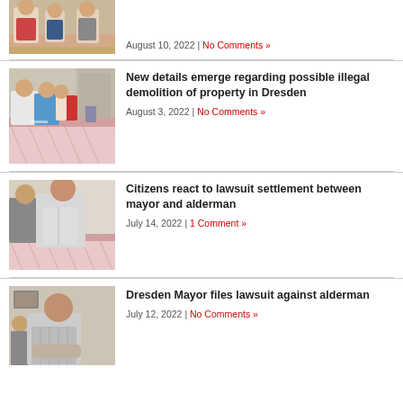[Figure (photo): Top of page, partially visible: people seated at a meeting table, photo cropped at top.]
August 10, 2022 | No Comments »
[Figure (photo): People seated at a table with a pink tablecloth during a meeting.]
New details emerge regarding possible illegal demolition of property in Dresden
August 3, 2022 | No Comments »
[Figure (photo): Two men seated at a meeting table, one younger and one older.]
Citizens react to lawsuit settlement between mayor and alderman
July 14, 2022 | 1 Comment »
[Figure (photo): Older man reclining, looking sideways, at a meeting.]
Dresden Mayor files lawsuit against alderman
July 12, 2022 | No Comments »